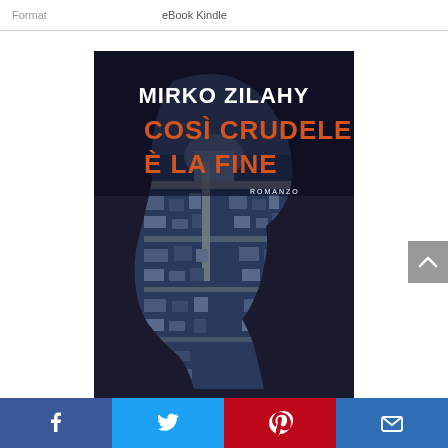| Format |  |
| --- | --- |
| Format | eBook Kindle |
[Figure (illustration): Book cover of 'Così Crudele È La Fine' by Mirko Zilahy. Dark cover showing a silhouette of a face in profile overlaid with an aerial photograph of Vatican City / St. Peter's Basilica. Author name 'MIRKO ZILAHY' in white bold text at top, title 'COSÌ CRUDELE È LA FINE' in orange/red bold text, and 'ROMANZO' in small white text below.]
[Figure (infographic): Social sharing bar at the bottom with four buttons: Facebook (blue), Twitter (light blue), Pinterest (red), Email (dark blue).]